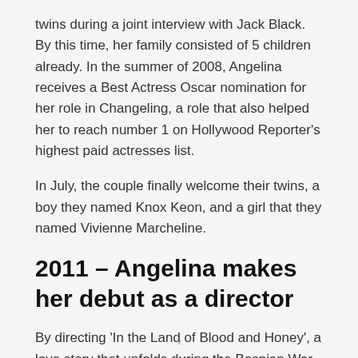twins during a joint interview with Jack Black. By this time, her family consisted of 5 children already. In the summer of 2008, Angelina receives a Best Actress Oscar nomination for her role in Changeling, a role that also helped her to reach number 1 on Hollywood Reporter's highest paid actresses list.
In July, the couple finally welcome their twins, a boy they named Knox Keon, and a girl that they named Vivienne Marcheline.
2011 – Angelina makes her debut as a director
By directing 'In the Land of Blood and Honey', a love story that unfolds during the Bosnian War. Angelina says that she had a lot of fun as an actress in the past, but being a director, especially for a movie set against the backdrop of important international
×